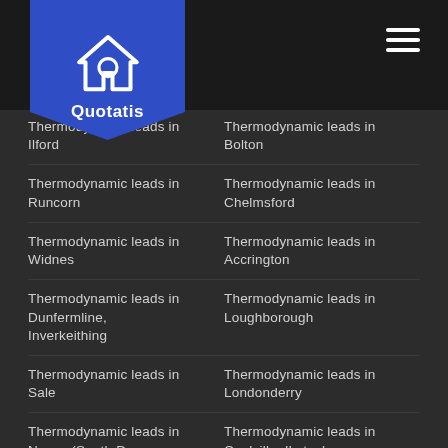Quotatis
Thermodynamic leads in Ilford
Thermodynamic leads in Bolton
Thermodynamic leads in Runcorn
Thermodynamic leads in Chelmsford
Thermodynamic leads in Widnes
Thermodynamic leads in Accrington
Thermodynamic leads in Dunfermline, Inverkeithing
Thermodynamic leads in Loughborough
Thermodynamic leads in Sale
Thermodynamic leads in Londonderry
Thermodynamic leads in Newry (South Down section)
Thermodynamic leads in Coalville, Ibstock, Markfield
Thermodynamic leads in Cheadle
Thermodynamic leads in Mitcham
Thermodynamic leads in Tamworth
Thermodynamic leads in Bromley